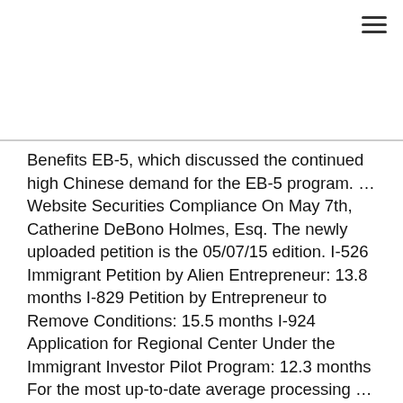Benefits EB-5, which discussed the continued high Chinese demand for the EB-5 program. ...Website Securities Compliance On May 7th, Catherine DeBono Holmes, Esq. The newly uploaded petition is the 05/07/15 edition. I-526 Immigrant Petition by Alien Entrepreneur: 13.8 months I-829 Petition by Entrepreneur to Remove Conditions: 15.5 months I-924 Application for Regional Center Under the Immigrant Investor Pilot Program: 12.3 months  For the most up-to-date average processing ...New Form I-829 Petition The USCIS uploaded a new Form I-829 Petition to their website. 4659, a Bill introduced in Congress on May 13, 2014: "To amend the Immigration and Nationality Act to make the EB-5 regional center program permanent, and for other purposes." The Bill, sponsored by Representative Aaron Schock [R-IL-18] and cosponsored by Representative